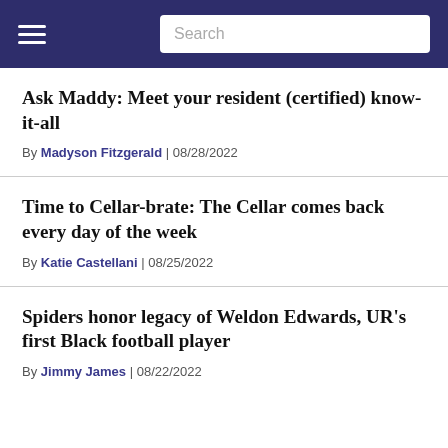Navigation bar with hamburger menu and Search input
Ask Maddy: Meet your resident (certified) know-it-all
By Madyson Fitzgerald | 08/28/2022
Time to Cellar-brate: The Cellar comes back every day of the week
By Katie Castellani | 08/25/2022
Spiders honor legacy of Weldon Edwards, UR's first Black football player
By Jimmy James | 08/22/2022